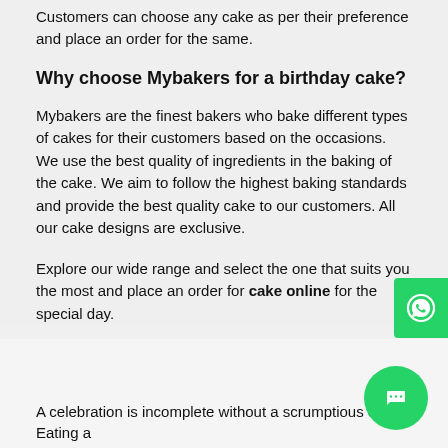Customers can choose any cake as per their preference and place an order for the same.
Why choose Mybakers for a birthday cake?
Mybakers are the finest bakers who bake different types of cakes for their customers based on the occasions. We use the best quality of ingredients in the baking of the cake. We aim to follow the highest baking standards and provide the best quality cake to our customers. All our cake designs are exclusive.
Explore our wide range and select the one that suits you the most and place an order for cake online for the special day.
[Figure (other): WhatsApp contact button (green rounded rectangle with WhatsApp icon)]
[Figure (other): Green circular chat/messaging button with speech bubble icon]
A celebration is incomplete without a scrumptious cake! Eating a